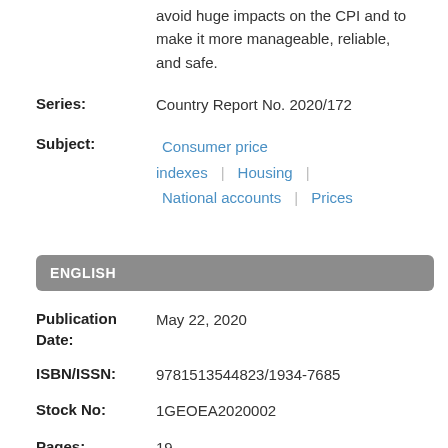avoid huge impacts on the CPI and to make it more manageable, reliable, and safe.
Series: Country Report No. 2020/172
Subject: Consumer price indexes | Housing | National accounts | Prices
ENGLISH
Publication Date: May 22, 2020
ISBN/ISSN: 9781513544823/1934-7685
Stock No: 1GEOEA2020002
Pages: 19